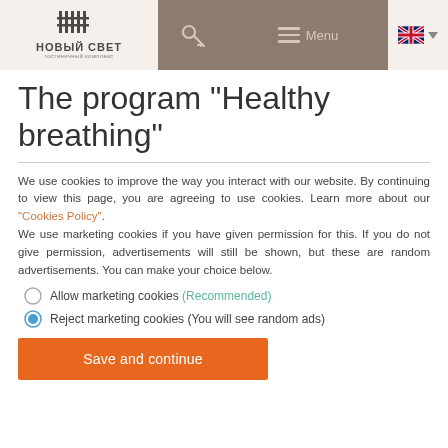НОВЫЙ СВЕТ | гостиничный комплекс | Menu
The program "Healthy breathing"
We use cookies to improve the way you interact with our website. By continuing to view this page, you are agreeing to use cookies. Learn more about our "Cookies Policy". We use marketing cookies if you have given permission for this. If you do not give permission, advertisements will still be shown, but these are random advertisements. You can make your choice below.
Allow marketing cookies (Recommended)
Reject marketing cookies (You will see random ads)
Save and continue